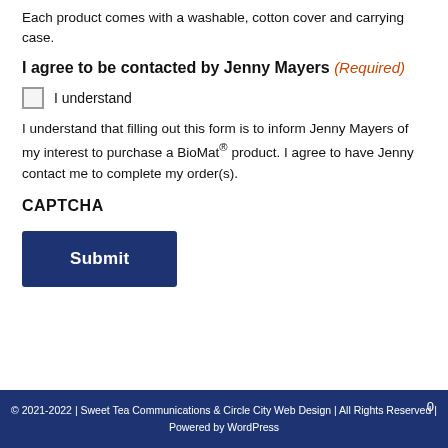Each product comes with a washable, cotton cover and carrying case.
I agree to be contacted by Jenny Mayers (Required)
I understand
I understand that filling out this form is to inform Jenny Mayers of my interest to purchase a BioMat® product. I agree to have Jenny contact me to complete my order(s).
CAPTCHA
Submit
© 2021-2022 | Sweet Tea Communications & Circle City Web Design | All Rights Reserved | Powered by WordPress